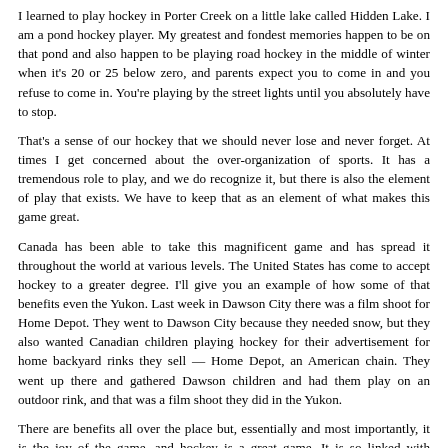I learned to play hockey in Porter Creek on a little lake called Hidden Lake. I am a pond hockey player. My greatest and fondest memories happen to be on that pond and also happen to be playing road hockey in the middle of winter when it's 20 or 25 below zero, and parents expect you to come in and you refuse to come in. You're playing by the street lights until you absolutely have to stop.
That's a sense of our hockey that we should never lose and never forget. At times I get concerned about the over-organization of sports. It has a tremendous role to play, and we do recognize it, but there is also the element of play that exists. We have to keep that as an element of what makes this game great.
Canada has been able to take this magnificent game and has spread it throughout the world at various levels. The United States has come to accept hockey to a greater degree. I'll give you an example of how some of that benefits even the Yukon. Last week in Dawson City there was a film shoot for Home Depot. They went to Dawson City because they needed snow, but they also wanted Canadian children playing hockey for their advertisement for home backyard rinks they sell — Home Depot, an American chain. They went up there and gathered Dawson children and had them play on an outdoor rink, and that was a film shoot they did in the Yukon.
There are benefits all over the place but, essentially and most importantly, it is the joy of the game, and hockey is a great game. It is so linked with everything we do in Canada. I salute the people who contribute to it: the parents, the officials, the volunteers, the coaches and the players. I've been very proud to be part of almost all those aspects.
Ms. Duncan: Canada Hockey Week is November 8 to 15, 2003. It's a